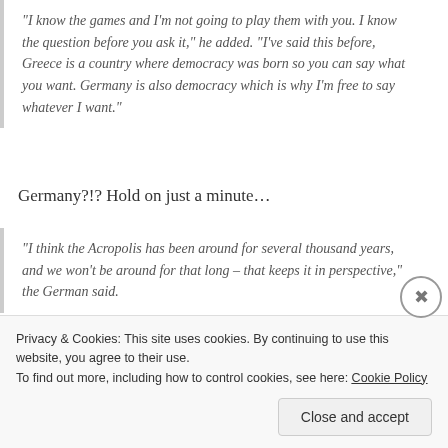“I know the games and I’m not going to play them with you. I know the question before you ask it,” he added. “I’ve said this before, Greece is a country where democracy was born so you can say what you want. Germany is also democracy which is why I’m free to say whatever I want.”
Germany?!? Hold on just a minute…
“I think the Acropolis has been around for several thousand years, and we won’t be around for that long – that keeps it in perspective,” the German said.
[Figure (illustration): Row of four circular avatar photos plus a blue circle with a plus sign]
Privacy & Cookies: This site uses cookies. By continuing to use this website, you agree to their use.
To find out more, including how to control cookies, see here: Cookie Policy
Close and accept